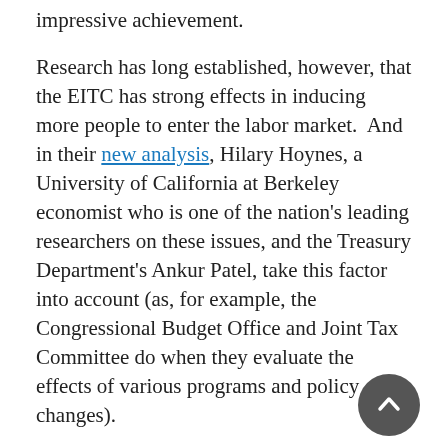impressive achievement.
Research has long established, however, that the EITC has strong effects in inducing more people to enter the labor market. And in their new analysis, Hilary Hoynes, a University of California at Berkeley economist who is one of the nation's leading researchers on these issues, and the Treasury Department's Ankur Patel, take this factor into account (as, for example, the Congressional Budget Office and Joint Tax Committee do when they evaluate the effects of various programs and policy changes).
The research in the field demonstrates that the EITC has particularly large effects in increasing employment (and reducing welfare use) among single female parents. A leading study found, for example, that EITC increases enacted in the 1990s were the single largest factor behind the impressive increase in employment among single mothers in that decade — larger, in fact, than the employment gains attributed to the 1996 welfare law...